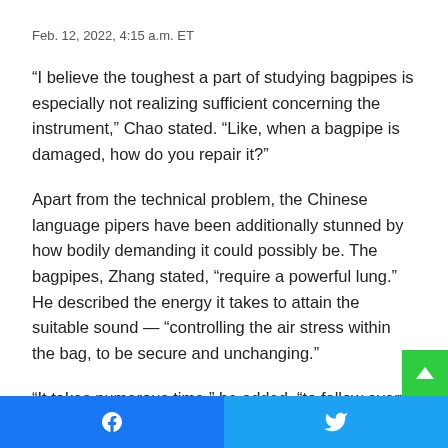Feb. 12, 2022, 4:15 a.m. ET
“I believe the toughest a part of studying bagpipes is especially not realizing sufficient concerning the instrument,” Chao stated. “Like, when a bagpipe is damaged, how do you repair it?”
Apart from the technical problem, the Chinese language pipers have been additionally stunned by how bodily demanding it could possibly be. The bagpipes, Zhang stated, “require a powerful lung.” He described the energy it takes to attain the suitable sound — “controlling the air stress within the bag, to be secure and unchanging.”
“It takes numerous time,” he added, “to follow every bit aga